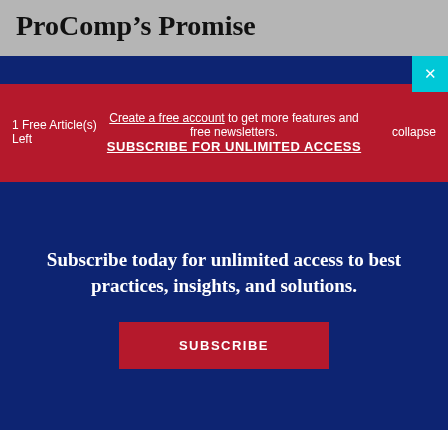ProComp’s Promise
1 Free Article(s) Left
Create a free account to get more features and free newsletters.
SUBSCRIBE FOR UNLIMITED ACCESS
collapse
Subscribe today for unlimited access to best practices, insights, and solutions.
SUBSCRIBE